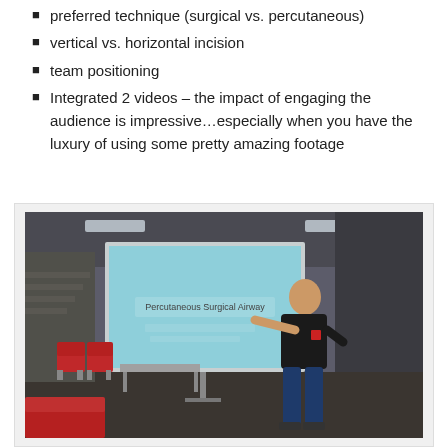preferred technique (surgical vs. percutaneous)
vertical vs. horizontal incision
team positioning
Integrated 2 videos – the impact of engaging the audience is impressive…especially when you have the luxury of using some pretty amazing footage
[Figure (photo): A presenter in a black t-shirt pointing at a projection screen displaying 'Percutaneous Surgical Airway' in a classroom/lecture hall setting with red chairs visible in the background.]